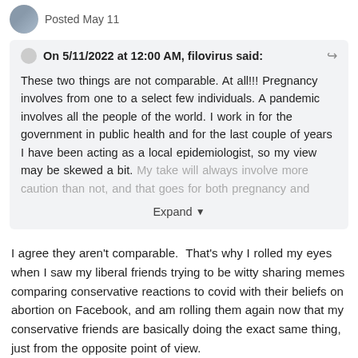Posted May 11
On 5/11/2022 at 12:00 AM, filovirus said:
These two things are not comparable. At all!!! Pregnancy involves from one to a select few individuals. A pandemic involves all the people of the world. I work in for the government in public health and for the last couple of years I have been acting as a local epidemiologist, so my view may be skewed a bit. My take will always involve more caution than not, and that goes for both pregnancy and...
Expand
I agree they aren't comparable.  That's why I rolled my eyes when I saw my liberal friends trying to be witty sharing memes comparing conservative reactions to covid with their beliefs on abortion on Facebook, and am rolling them again now that my conservative friends are basically doing the exact same thing, just from the opposite point of view.